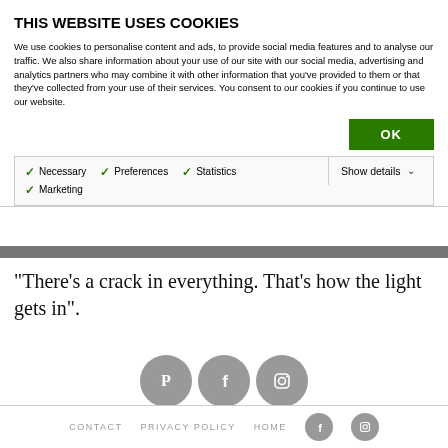THIS WEBSITE USES COOKIES
We use cookies to personalise content and ads, to provide social media features and to analyse our traffic. We also share information about your use of our site with our social media, advertising and analytics partners who may combine it with other information that you've provided to them or that they've collected from your use of their services. You consent to our cookies if you continue to use our website.
OK
Necessary   Preferences   Statistics   Marketing   Show details
“There’s a crack in everything. That’s how the light gets in”.
[Figure (infographic): Social media icons: Pinterest, Facebook, Instagram in grey circles]
CONTACT   PRIVACY POLICY   HOME